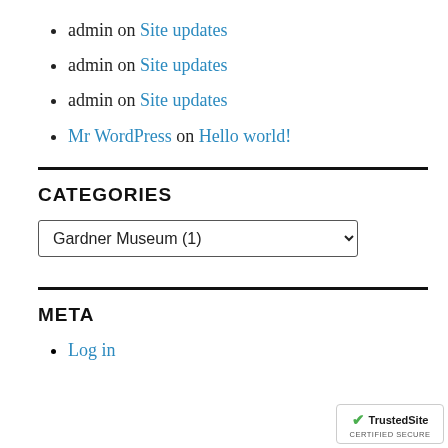admin on Site updates
admin on Site updates
admin on Site updates
Mr WordPress on Hello world!
CATEGORIES
Gardner Museum (1)
META
Log in
[Figure (logo): TrustedSite Certified Secure badge]